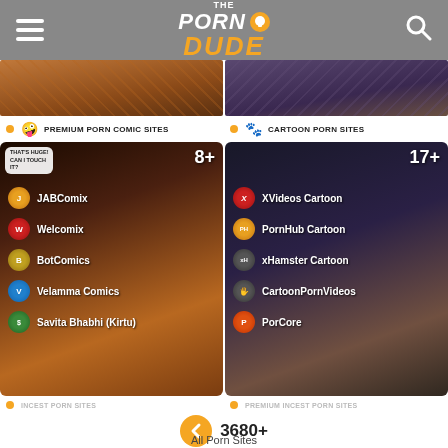The Porn Dude
[Figure (screenshot): Two banner thumbnail images side by side — left shows cartoon comic scene, right shows animated character scene]
PREMIUM PORN COMIC SITES
CARTOON PORN SITES
[Figure (screenshot): Left panel: Premium Porn Comic Sites — 8+ sites including JABComix, Welcomix, BotComics, Velamma Comics, Savita Bhabhi (Kirtu)]
[Figure (screenshot): Right panel: Cartoon Porn Sites — 17+ sites including XVideos Cartoon, PornHub Cartoon, xHamster Cartoon, CartoonPornVideos, PorCore]
INCEST PORN SITES
PREMIUM INCEST PORN SITES
3680+
All Porn Sites